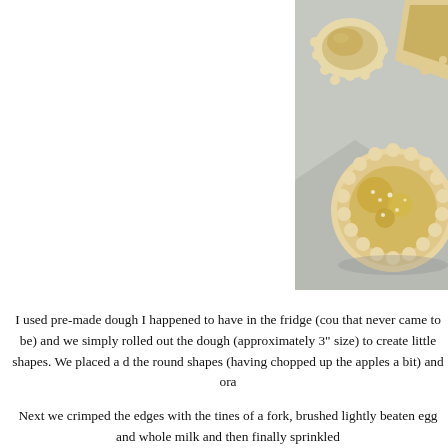[Figure (photo): Close-up photo of small round crimped hand pies with scalloped edges on parchment paper, some appear golden-brown and glazed with sugar on top, viewed from above at an angle.]
I used pre-made dough I happened to have in the fridge (cou that never came to be) and we simply rolled out the dough (approximately 3" size) to create little shapes. We placed a d the round shapes (having chopped up the apples a bit) and ora
Next we crimped the edges with the tines of a fork, brushed lightly beaten egg and whole milk and then finally sprinkled